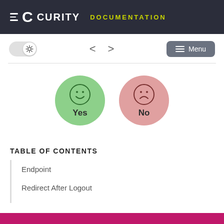CURITY DOCUMENTATION
[Figure (screenshot): UI toolbar with toggle switch (light mode), navigation arrows, and Menu button]
[Figure (infographic): Two circular feedback buttons: a green smiley face labeled Yes and a pink frowning face labeled No]
TABLE OF CONTENTS
Endpoint
Redirect After Logout
Configuration